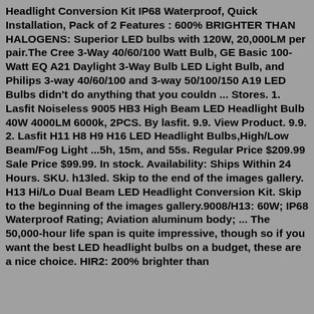Headlight Conversion Kit IP68 Waterproof, Quick Installation, Pack of 2 Features : 600% BRIGHTER THAN HALOGENS: Superior LED bulbs with 120W, 20,000LM per pair.The Cree 3-Way 40/60/100 Watt Bulb, GE Basic 100-Watt EQ A21 Daylight 3-Way Bulb LED Light Bulb, and Philips 3-way 40/60/100 and 3-way 50/100/150 A19 LED Bulbs didn't do anything that you couldn ... Stores. 1. Lasfit Noiseless 9005 HB3 High Beam LED Headlight Bulb 40W 4000LM 6000k, 2PCS. By lasfit. 9.9. View Product. 9.9. 2. Lasfit H11 H8 H9 H16 LED Headlight Bulbs,High/Low Beam/Fog Light ...5h, 15m, and 55s. Regular Price $209.99 Sale Price $99.99. In stock. Availability: Ships Within 24 Hours. SKU. h13led. Skip to the end of the images gallery. H13 Hi/Lo Dual Beam LED Headlight Conversion Kit. Skip to the beginning of the images gallery.9008/H13: 60W; IP68 Waterproof Rating; Aviation aluminum body; ... The 50,000-hour life span is quite impressive, though so if you want the best LED headlight bulbs on a budget, these are a nice choice. HIR2: 200% brighter than